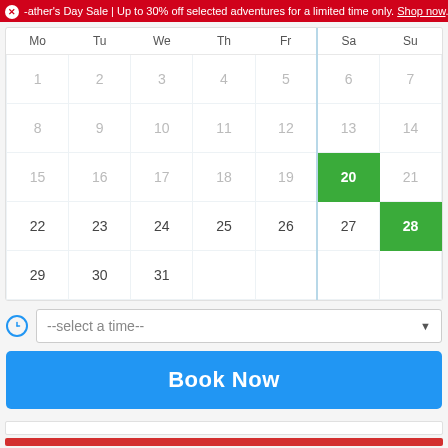Father's Day Sale | Up to 30% off selected adventures for a limited time only. Shop now.
| Mo | Tu | We | Th | Fr | Sa | Su |
| --- | --- | --- | --- | --- | --- | --- |
| 1 | 2 | 3 | 4 | 5 | 6 | 7 |
| 8 | 9 | 10 | 11 | 12 | 13 | 14 |
| 15 | 16 | 17 | 18 | 19 | 20 | 21 |
| 22 | 23 | 24 | 25 | 26 | 27 | 28 |
| 29 | 30 | 31 |  |  |  |  |
--select a time--
Book Now